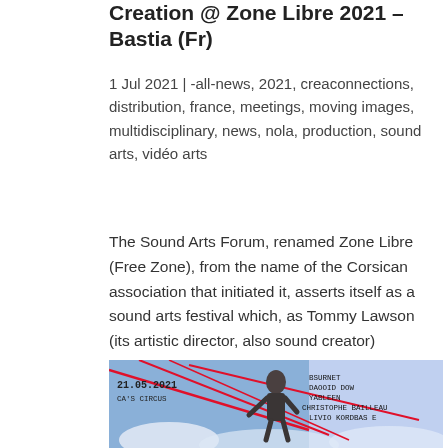Transcultural Pepinieres of Creation @ Zone Libre 2021 – Bastia (Fr)
1 Jul 2021 | -all-news, 2021, creaconnections, distribution, france, meetings, moving images, multidisciplinary, news, nola, production, sound arts, vidéo arts
The Sound Arts Forum, renamed Zone Libre (Free Zone), from the name of the Corsican association that initiated it, asserts itself as a sound arts festival which, as Tommy Lawson (its artistic director, also sound creator) specifies, "offers forms adapted (a rich...
[Figure (photo): A stylized digital/3D scene dated 21.05.2021 featuring a humanoid figure with overlaid text listing names: BSURNET, DAOOID DOW, YABLEEN, CHRISTOPHE BAILLEAU, LIVIO KORDBAS E. Visual features red diagonal lines over a blue/white background with other figures.]